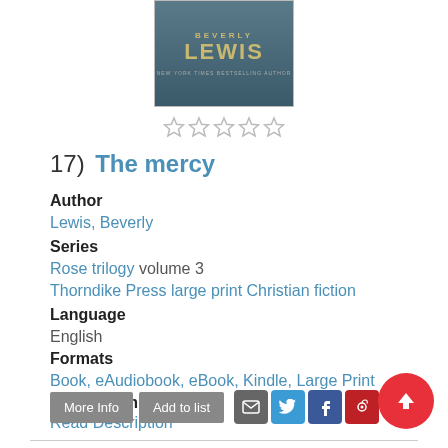[Figure (photo): Book cover for Beverly Lewis showing author name in gold letters on dark background]
[Figure (other): 5 empty star rating widget]
17) The mercy
Author
Lewis, Beverly
Series
Rose trilogy volume 3
Thorndike Press large print Christian fiction
Language
English
Formats
Book, eAudiobook, eBook, Kindle, Large Print
Description
Read Description
[Figure (other): Buttons: More Info, Add to list; Social icons: email, twitter, facebook, pinterest; Red up arrow button]